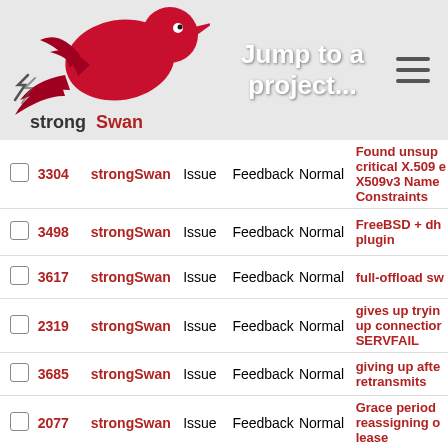Jump to a project...
|  | # | Project | Type | Status | Priority | Subject |
| --- | --- | --- | --- | --- | --- | --- |
|  | 3304 | strongSwan | Issue | Feedback | Normal | Found unsupported critical X.509 extension X509v3 Name Constraints |
|  | 3498 | strongSwan | Issue | Feedback | Normal | FreeBSD + dhcp plugin |
|  | 3617 | strongSwan | Issue | Feedback | Normal | full-offload sw... |
|  | 2319 | strongSwan | Issue | Feedback | Normal | gives up trying to bring up connection due to SERVFAIL |
|  | 3685 | strongSwan | Issue | Feedback | Normal | giving up after retransmits |
|  | 2077 | strongSwan | Issue | Feedback | Normal | Grace period reassigning old lease |
|  | 2178 | strongSwan | Issue | New | Normal | ha and updown... |
|  | 3650 | strongSwan | Issue | Feedback | Normal | HA behaves very strange |
|  | 1299 | strongSwan | Issue | New | Normal | HA plugin sho... |